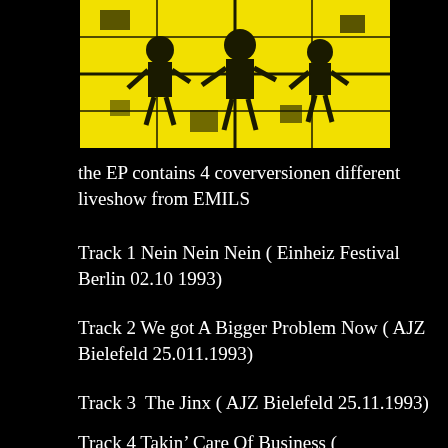[Figure (illustration): Yellow and black illustration showing abstract figures, appears to be punk/alternative music artwork with figures in yellow on black background]
the EP contains 4 coverversionen different liveshow from EMILS
Track 1 Nein Nein Nein ( Einheiz Festival Berlin 02.10 1993)
Track 2 We got A Bigger Problem Now ( AJZ Bielefeld 25.011.1993)
Track 3  The Jinx ( AJZ Bielefeld 25.11.1993)
Track 4 Takin' Care Of Business ( Blockshock Berlin 03.09.1989)